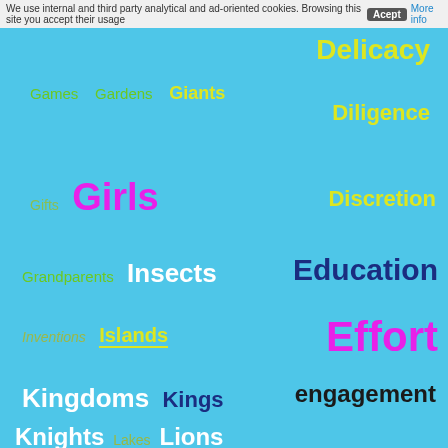We use internal and third party analytical and ad-oriented cookies. Browsing this site you accept their usage  Acept  More info
Delicacy
Games  Gardens  Giants
Diligence
Gifts  Girls
Discretion
Grandparents  Insects
Education
Inventions  Islands
Effort
Kingdoms  Kings
engagement
Knights  Lakes  Lions
enthusiasm
Magic tools  Meals  Mice
Environment
Moms  Monkeys